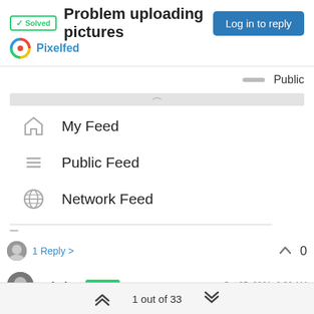✓ Solved  Problem uploading pictures
Pixelfed
Log in to reply
Public
My Feed
Public Feed
Network Feed
1 Reply >
0
nebulon  STAFF  Oct 25, 2021, 8:30 AM
@archos do you see any errors about the 500 in the server side
1 out of 33